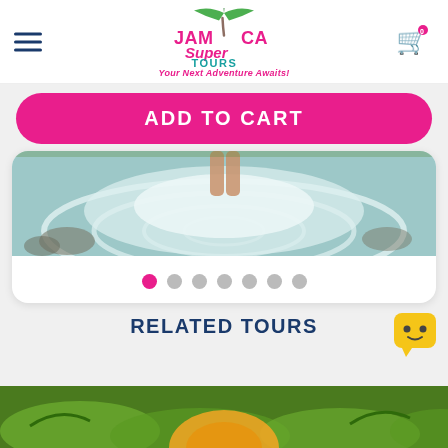Jamaica Super Tours — Your Next Adventure Awaits!
[Figure (logo): Jamaica Super Tours logo with palm tree, colorful text 'JAMAICA Super TOURS' and tagline 'Your Next Adventure Awaits!']
ADD TO CART
[Figure (photo): Person wading in water, viewed from behind, with ripples spreading outward]
RELATED TOURS
[Figure (photo): Bottom partial image showing lush green tropical scenery with orange/yellow decorative element]